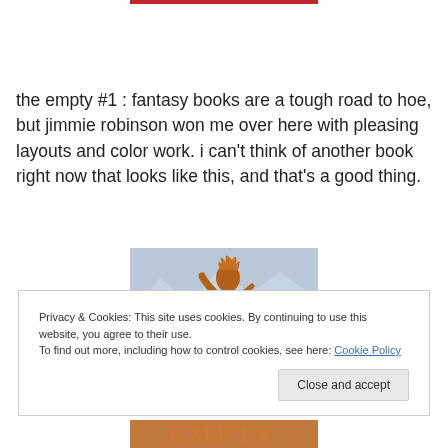[Figure (other): Red horizontal bar at top of page, partial decorative element]
the empty #1 : fantasy books are a tough road to hoe, but jimmie robinson won me over here with pleasing layouts and color work. i can't think of another book right now that looks like this, and that's a good thing.
[Figure (illustration): Stylized illustration of fantasy figures - tall creature with raised hand and smaller deer-like creature against a blue-gray mountain background, with brown/orange rustic lettering below spelling 'EMPTY']
Privacy & Cookies: This site uses cookies. By continuing to use this website, you agree to their use.
To find out more, including how to control cookies, see here: Cookie Policy
Close and accept